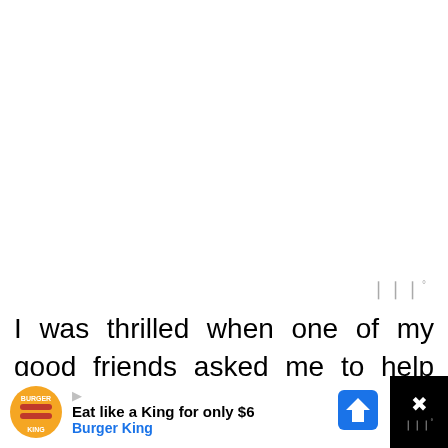[Figure (other): Weather or signal icon — three vertical bars with a degree symbol, shown in gray, positioned in upper-right area of white space]
I was thrilled when one of my good friends asked me to help her plan her twin's first birthday party. As a mom of
[Figure (other): Mobile advertisement banner at bottom: Burger King ad reading 'Eat like a King for only $6 / Burger King' with BK logo and navigation arrow icon. Right side shows close button area with X and partial weather icon.]